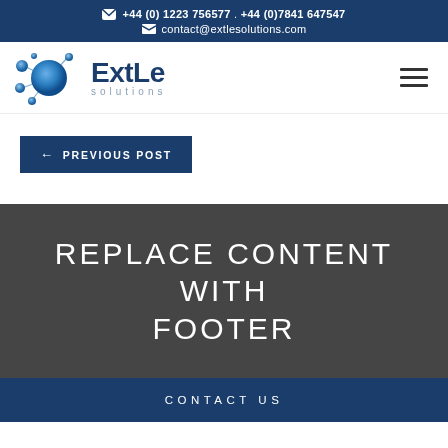+44 (0) 1223 756577 . +44 (0)7841 647547 | contact@extlesolutions.com
[Figure (logo): ExtLe solutions logo with blue bubble/molecule graphic and text 'ExtLe solutions']
← PREVIOUS POST
REPLACE CONTENT WITH FOOTER
CONTACT US